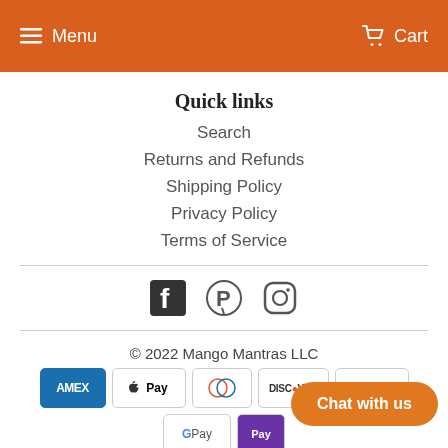Menu   Cart
Quick links
Search
Returns and Refunds
Shipping Policy
Privacy Policy
Terms of Service
[Figure (other): Social media icons: Facebook, Pinterest, Instagram]
© 2022 Mango Mantras LLC
[Figure (other): Payment method icons: Amex, Apple Pay, Diners Club, Discover, Meta Pay, Google Pay, Samsung Pay, Venmo, Visa]
Chat with us